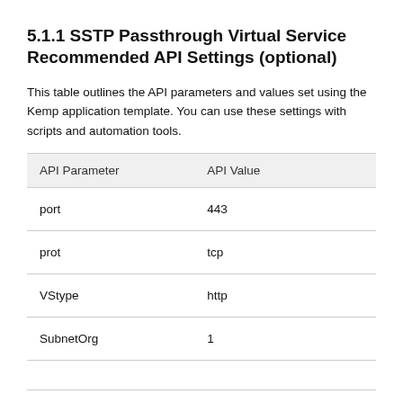5.1.1 SSTP Passthrough Virtual Service Recommended API Settings (optional)
This table outlines the API parameters and values set using the Kemp application template. You can use these settings with scripts and automation tools.
| API Parameter | API Value |
| --- | --- |
| port | 443 |
| prot | tcp |
| VStype | http |
| SubnetOrg | 1 |